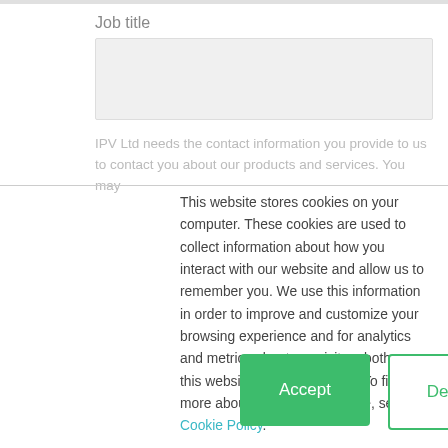Job title
IPV Ltd needs the contact information you provide to us to contact you about our products and services. You may
This website stores cookies on your computer. These cookies are used to collect information about how you interact with our website and allow us to remember you. We use this information in order to improve and customize your browsing experience and for analytics and metrics about our visitors both on this website and other media. To find out more about the cookies we use, see our Cookie Policy.

We won't track your information when you visit our site. But in order to comply with your preferences, we'll have to use just one tiny cookie so that you're not asked to make this choice again.
Accept
Decline